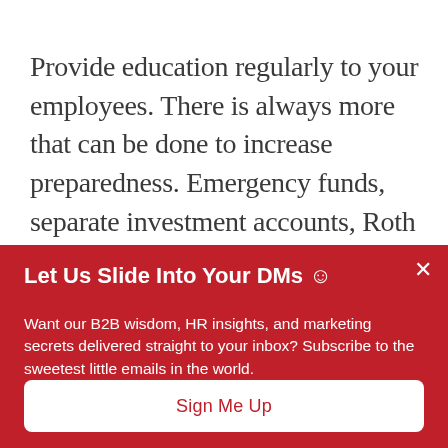Provide education regularly to your employees. There is always more that can be done to increase preparedness. Emergency funds, separate investment accounts, Roth IRAs, the list goes on. Whether it's offering a seminar on personal finance, establishing a financial wellness program or starting a small
Let Us Slide Into Your DMs 😊
Want our B2B wisdom, HR insights, and marketing secrets delivered straight to your inbox? Subscribe to the sweetest little emails in the world.
Sign Me Up